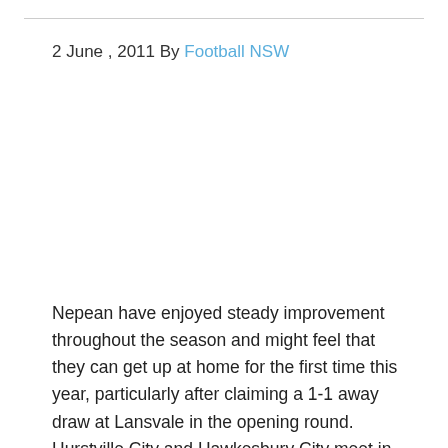2 June , 2011 By Football NSW
Nepean have enjoyed steady improvement throughout the season and might feel that they can get up at home for the first time this year, particularly after claiming a 1-1 away draw at Lansvale in the opening round. Hurstville City and Hawkesbury City meet in an engaging match-